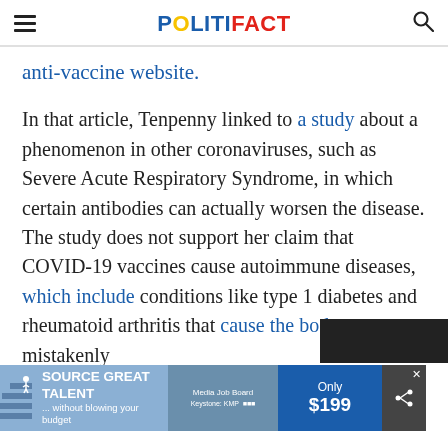POLITIFACT
anti-vaccine website.
In that article, Tenpenny linked to a study about a phenomenon in other coronaviruses, such as Severe Acute Respiratory Syndrome, in which certain antibodies can actually worsen the disease. The study does not support her claim that COVID-19 vaccines cause autoimmune diseases, which include conditions like type 1 diabetes and rheumatoid arthritis that cause the body to mistakenly attack
[Figure (screenshot): Advertisement banner: 'SOURCE GREAT TALENT ... without blowing your budget' with Media Job Board logo and 'Only $199' price box]